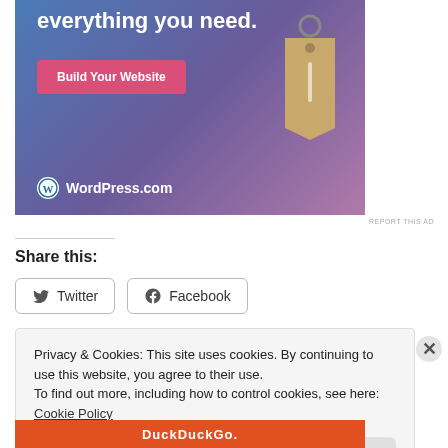[Figure (screenshot): WordPress.com advertisement banner with gradient blue-purple background, 'everything you need.' text, pink 'Build Your Website' button, a hanging price tag illustration, and WordPress.com logo at bottom left.]
REPORT THIS AD
Share this:
Twitter
Facebook
Privacy & Cookies: This site uses cookies. By continuing to use this website, you agree to their use.
To find out more, including how to control cookies, see here: Cookie Policy
Close and accept